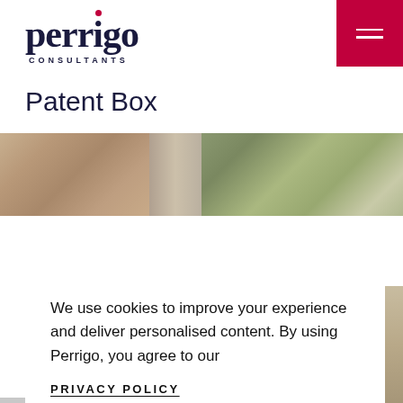[Figure (logo): Perrigo Consultants logo with dark navy text and red dot above the 'i']
Patent Box
[Figure (photo): A photo strip showing two outdoor scenes of a brick building and street]
We use cookies to improve your experience and deliver personalised content. By using Perrigo, you agree to our
PRIVACY POLICY
GOT IT!